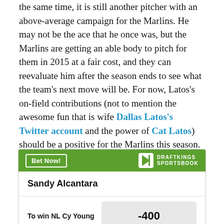the same time, it is still another pitcher with an above-average campaign for the Marlins. He may not be the ace that he once was, but the Marlins are getting an able body to pitch for them in 2015 at a fair cost, and they can reevaluate him after the season ends to see what the team's next move will be. For now, Latos's on-field contributions (not to mention the awesome fun that is wife Dallas Latos's Twitter account and the power of Cat Latos) should be a positive for the Marlins this season.
[Figure (other): DraftKings Sportsbook betting widget showing Sandy Alcantara to win NL Cy Young at -400 odds]